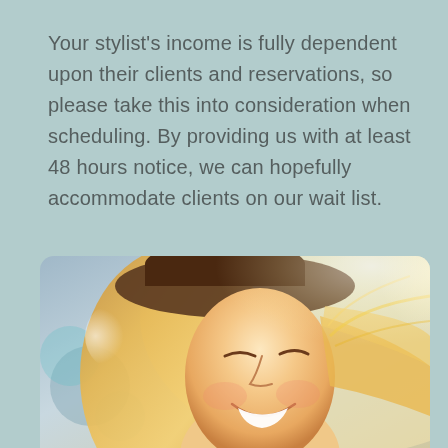Your stylist's income is fully dependent upon their clients and reservations, so please take this into consideration when scheduling. By providing us with at least 48 hours notice, we can hopefully accommodate clients on our wait list.
[Figure (photo): A smiling young woman with long blonde hair, wearing a wide-brimmed hat, photographed outdoors with warm sunlight. She is laughing with her eyes slightly closed.]